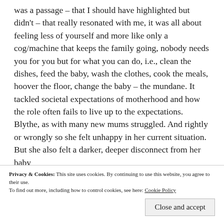was a passage – that I should have highlighted but didn't – that really resonated with me, it was all about feeling less of yourself and more like only a cog/machine that keeps the family going, nobody needs you for you but for what you can do, i.e., clean the dishes, feed the baby, wash the clothes, cook the meals, hoover the floor, change the baby – the mundane. It tackled societal expectations of motherhood and how the role often fails to live up to the expectations. Blythe, as with many new mums struggled. And rightly or wrongly so she felt unhappy in her current situation. But she also felt a darker, deeper disconnect from her baby
Privacy & Cookies: This site uses cookies. By continuing to use this website, you agree to their use.
To find out more, including how to control cookies, see here: Cookie Policy
Close and accept
hooked. Even a week later after I turned the last